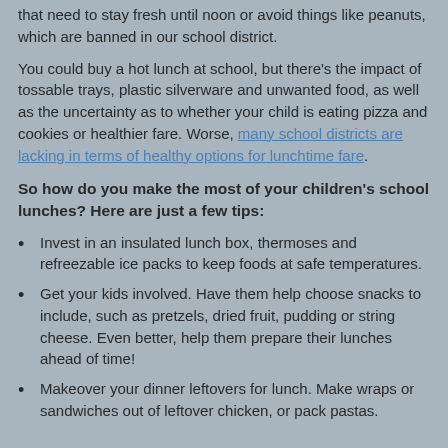that need to stay fresh until noon or avoid things like peanuts, which are banned in our school district.
You could buy a hot lunch at school, but there's the impact of tossable trays, plastic silverware and unwanted food, as well as the uncertainty as to whether your child is eating pizza and cookies or healthier fare. Worse, many school districts are lacking in terms of healthy options for lunchtime fare.
So how do you make the most of your children's school lunches? Here are just a few tips:
Invest in an insulated lunch box, thermoses and refreezable ice packs to keep foods at safe temperatures.
Get your kids involved. Have them help choose snacks to include, such as pretzels, dried fruit, pudding or string cheese. Even better, help them prepare their lunches ahead of time!
Makeover your dinner leftovers for lunch. Make wraps or sandwiches out of leftover chicken, or pack pastas.